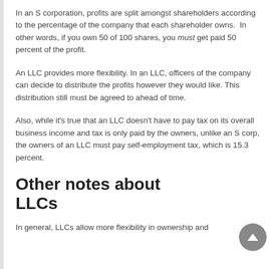In an S corporation, profits are split amongst shareholders according to the percentage of the company that each shareholder owns.  In other words, if you own 50 of 100 shares, you must get paid 50 percent of the profit.
An LLC provides more flexibility. In an LLC, officers of the company can decide to distribute the profits however they would like. This distribution still must be agreed to ahead of time.
Also, while it's true that an LLC doesn't have to pay tax on its overall business income and tax is only paid by the owners, unlike an S corp, the owners of an LLC must pay self-employment tax, which is 15.3 percent.
Other notes about LLCs
In general, LLCs allow more flexibility in ownership and